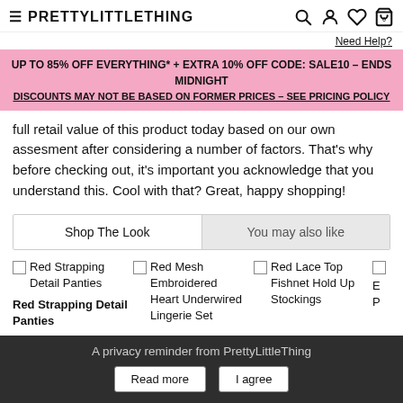≡ PRETTYLITTLETHING
Need Help?
UP TO 85% OFF EVERYTHING* + EXTRA 10% OFF CODE: SALE10 – ENDS MIDNIGHT
DISCOUNTS MAY NOT BE BASED ON FORMER PRICES – SEE PRICING POLICY
full retail value of this product today based on our own assesment after considering a number of factors. That's why before checking out, it's important you acknowledge that you understand this. Cool with that? Great, happy shopping!
Shop The Look | You may also like
Red Strapping Detail Panties
Red Mesh Embroidered Heart Underwired Lingerie Set
Red Lace Top Fishnet Hold Up Stockings
A privacy reminder from PrettyLittleThing